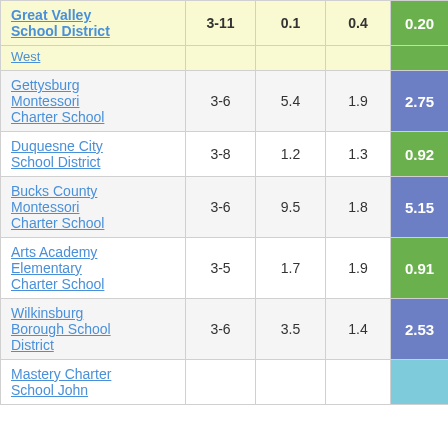| School/District | Grades | Col3 | Col4 | Score |
| --- | --- | --- | --- | --- |
| Great Valley School District | 3-11 | 0.1 | 0.4 | 0.20 |
| West |  |  |  |  |
| Gettysburg Montessori Charter School | 3-6 | 5.4 | 1.9 | 2.75 |
| Duquesne City School District | 3-8 | 1.2 | 1.3 | 0.92 |
| Bucks County Montessori Charter School | 3-6 | 9.5 | 1.8 | 5.15 |
| Arts Academy Elementary Charter School | 3-5 | 1.7 | 1.9 | 0.91 |
| Wilkinsburg Borough School District | 3-6 | 3.5 | 1.4 | 2.53 |
| Mastery Charter School John |  |  |  |  |